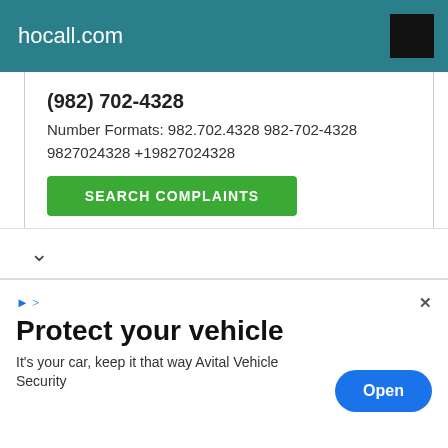hocall.com
(982) 702-4328
Number Formats: 982.702.4328 982-702-4328 9827024328 +19827024328
SEARCH COMPLAINTS
(982) 702-4329
Number Formats: 982.702.4329 982-702-4329 9827024329 +19827024329
SEARCH COMPLAINTS
Protect your vehicle
It's your car, keep it that way Avital Vehicle Security
Open